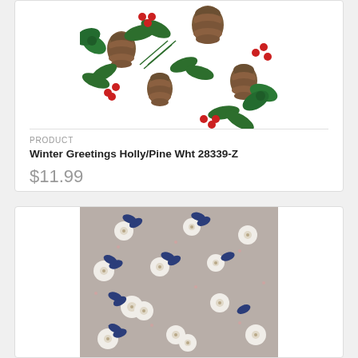[Figure (photo): Christmas/holiday fabric pattern with holly leaves, pine cones, red berries, and green ribbons on white background]
PRODUCT
Winter Greetings Holly/Pine Wht 28339-Z
$11.99
[Figure (photo): Fabric pattern with small white flowers and dark blue leaves scattered on a gray/taupe background with tiny pink dots]